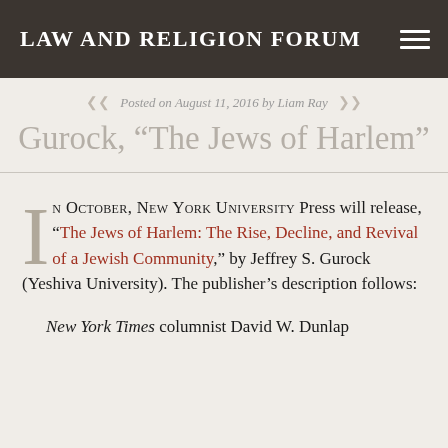LAW AND RELIGION FORUM
Posted on August 11, 2016 by Liam Ray
Gurock, “The Jews of Harlem”
In October, New York University Press will release, “The Jews of Harlem: The Rise, Decline, and Revival of a Jewish Community,” by Jeffrey S. Gurock (Yeshiva University). The publisher’s description follows:
New York Times columnist David W. Dunlap